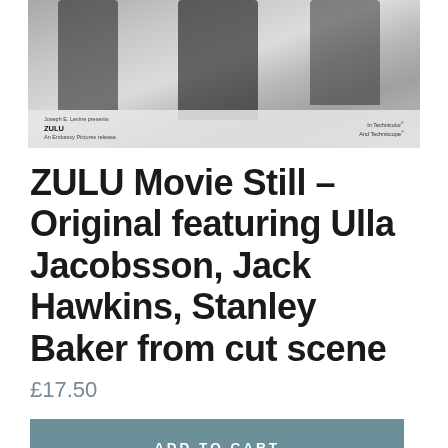[Figure (photo): Black and white movie still from ZULU film, showing actors in period costume. Bottom of image shows text: 'Joseph E. Levine presents ZULU An Embassy Pictures release. In Technicolor And Techniscope']
ZULU Movie Still - Original featuring Ulla Jacobsson, Jack Hawkins, Stanley Baker from cut scene
£17.50
ADD TO CART
Original 10x8 still from Zulu with Ulla Jacobsson and